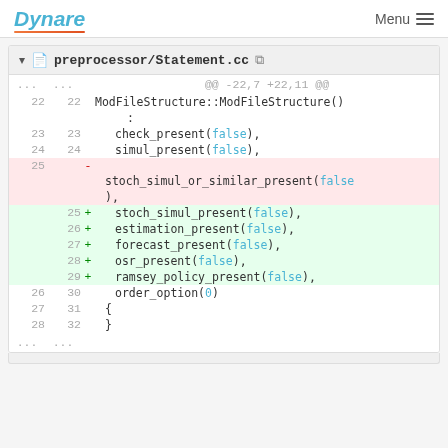Dynare  Menu
[Figure (screenshot): Git diff view for preprocessor/Statement.cc showing added and removed lines in a C++ constructor initializer list. Removed line: stoch_simul_or_similar_present(false). Added lines: stoch_simul_present(false), estimation_present(false), forecast_present(false), osr_present(false), ramsey_policy_present(false).]